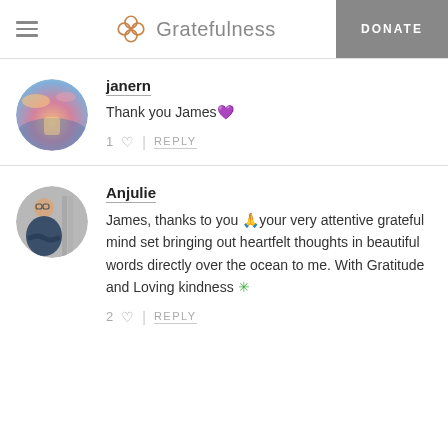Gratefulness | DONATE
janern
Thank you James 💜
1 ♡ | REPLY
Anjulie
James, thanks to you 🙏your very attentive grateful mind set bringing out heartfelt thoughts in beautiful words directly over the ocean to me. With Gratitude and Loving kindness ✳
2 ♡ | REPLY